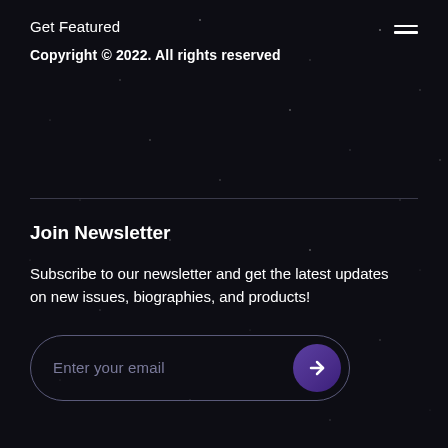Get Featured
Copyright © 2022. All rights reserved
Join Newsletter
Subscribe to our newsletter and get the latest updates on new issues, biographies, and products!
Enter your email